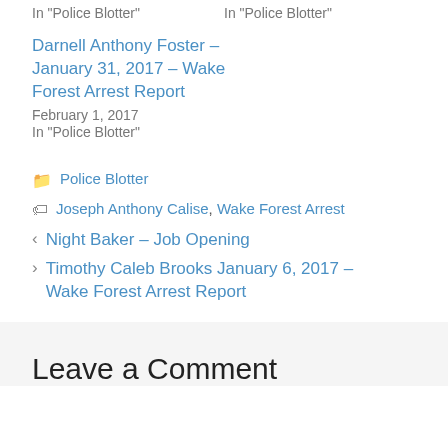In "Police Blotter"
In "Police Blotter"
Darnell Anthony Foster – January 31, 2017 – Wake Forest Arrest Report
February 1, 2017
In "Police Blotter"
Police Blotter
Joseph Anthony Calise, Wake Forest Arrest
Night Baker – Job Opening
Timothy Caleb Brooks January 6, 2017 – Wake Forest Arrest Report
Leave a Comment